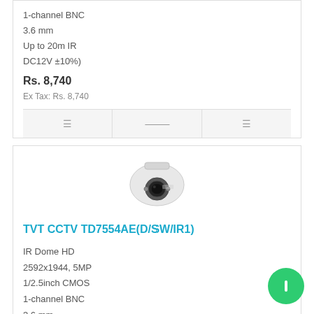1-channel BNC
3.6 mm
Up to 20m IR
DC12V  ±10%)
Rs. 8,740
Ex Tax: Rs. 8,740
[Figure (photo): White IR dome CCTV camera viewed from front-left angle]
TVT CCTV TD7554AE(D/SW/IR1)
IR Dome HD
2592x1944, 5MP
1/2.5inch CMOS
1-channel BNC
3.6 mm
Up to 20m IR